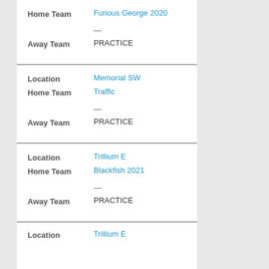Home Team: Furious George 2020
Away Team: PRACTICE
Location: Memorial SW
Home Team: Traffic
Away Team: PRACTICE
Location: Trillium E
Home Team: Blackfish 2021
Away Team: PRACTICE
Location: Trillium E